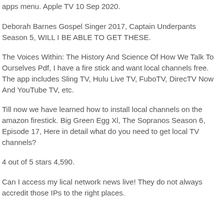apps menu. Apple TV 10 Sep 2020.
Deborah Barnes Gospel Singer 2017, Captain Underpants Season 5, WILL I BE ABLE TO GET THESE.
The Voices Within: The History And Science Of How We Talk To Ourselves Pdf, I have a fire stick and want local channels free. The app includes Sling TV, Hulu Live TV, FuboTV, DirecTV Now And YouTube TV, etc.
Till now we have learned how to install local channels on the amazon firestick. Big Green Egg Xl, The Sopranos Season 6, Episode 17, Here in detail what do you need to get local TV channels?
4 out of 5 stars 4,590.
Can I access my lical network news live! They do not always accredit those IPs to the right places.